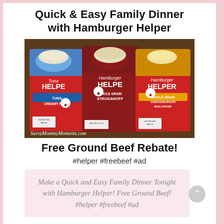Quick & Easy Family Dinner with Hamburger Helper
[Figure (photo): Three boxes of Helper brand products (Tuna Helper Tuna Creamy Pasta, Hamburger Helper Whole Grain Stroganoff, Hamburger Helper Whole Grain Cheeseburger Macaroni) displayed on a table with serving bowls of cooked pasta on top. Watermark: SavvyMommyMoments.com]
Free Ground Beef Rebate!
#helper #freebeef #ad
Make a Quick and Easy Family Dinner Tonight with Hamburger Helper! Free Ground Beef! #helper #freebeef #ad